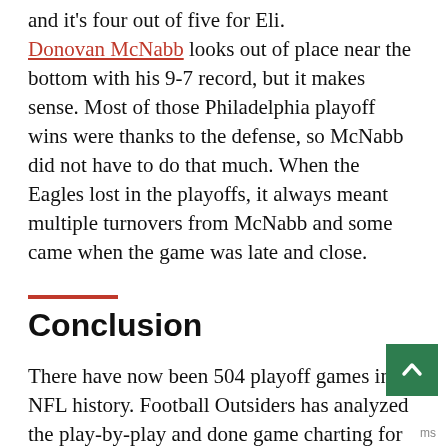and it's four out of five for Eli. Donovan McNabb looks out of place near the bottom with his 9-7 record, but it makes sense. Most of those Philadelphia playoff wins were thanks to the defense, so McNabb did not have to do that much. When the Eagles lost in the playoffs, it always meant multiple turnovers from McNabb and some came when the game was late and close.
Conclusion
There have now been 504 playoff games in NFL history. Football Outsiders has analyzed the play-by-play and done game charting for 534 games (including playoffs) since the 2012 season. That's just two years. While we may never get a clear picture of how the 1940 Redskins lost 73-0 to the